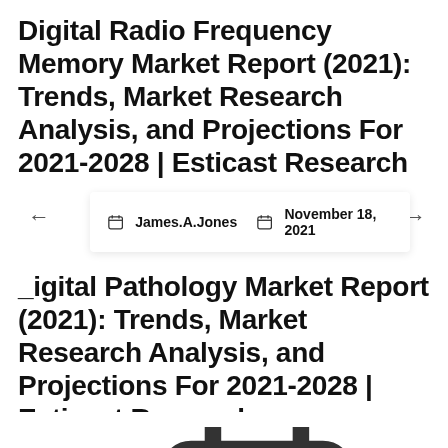Digital Radio Frequency Memory Market Report (2021): Trends, Market Research Analysis, and Projections For 2021-2028 | Esticast Research
James.A.Jones   November 18, 2021
Digital Pathology Market Report (2021): Trends, Market Research Analysis, and Projections For 2021-2028 | Esticast Research
James.A.Jones   November 18, 2021